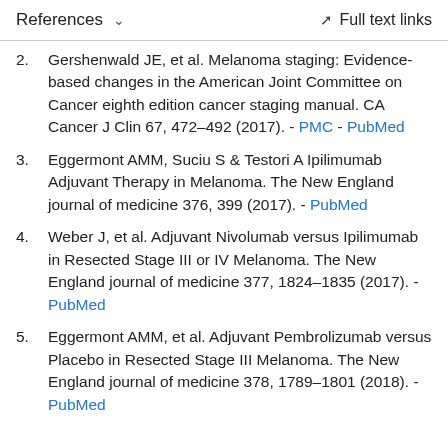References  ∨    Full text links
2. Gershenwald JE, et al. Melanoma staging: Evidence-based changes in the American Joint Committee on Cancer eighth edition cancer staging manual. CA Cancer J Clin 67, 472–492 (2017). - PMC - PubMed
3. Eggermont AMM, Suciu S & Testori A Ipilimumab Adjuvant Therapy in Melanoma. The New England journal of medicine 376, 399 (2017). - PubMed
4. Weber J, et al. Adjuvant Nivolumab versus Ipilimumab in Resected Stage III or IV Melanoma. The New England journal of medicine 377, 1824–1835 (2017). - PubMed
5. Eggermont AMM, et al. Adjuvant Pembrolizumab versus Placebo in Resected Stage III Melanoma. The New England journal of medicine 378, 1789–1801 (2018). - PubMed